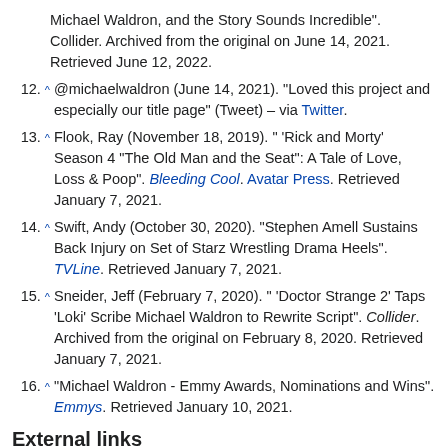Michael Waldron, and the Story Sounds Incredible". Collider. Archived from the original on June 14, 2021. Retrieved June 12, 2022.
12. ^ @michaelwaldron (June 14, 2021). "Loved this project and especially our title page" (Tweet) – via Twitter.
13. ^ Flook, Ray (November 18, 2019). " 'Rick and Morty' Season 4 'The Old Man and the Seat': A Tale of Love, Loss & Poop". Bleeding Cool. Avatar Press. Retrieved January 7, 2021.
14. ^ Swift, Andy (October 30, 2020). "Stephen Amell Sustains Back Injury on Set of Starz Wrestling Drama Heels". TVLine. Retrieved January 7, 2021.
15. ^ Sneider, Jeff (February 7, 2020). " 'Doctor Strange 2' Taps 'Loki' Scribe Michael Waldron to Rewrite Script". Collider. Archived from the original on February 8, 2020. Retrieved January 7, 2021.
16. ^ "Michael Waldron - Emmy Awards, Nominations and Wins". Emmys. Retrieved January 10, 2021.
External links
Michael Waldron at IMDb